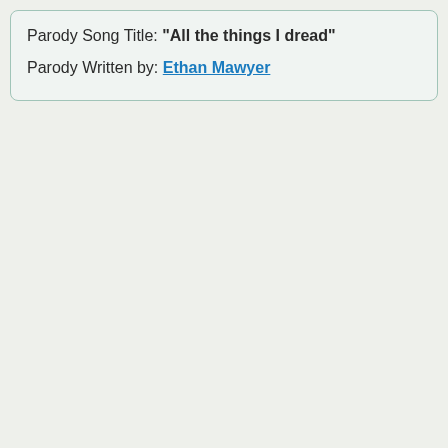Parody Song Title: "All the things I dread"
Parody Written by: Ethan Mawyer